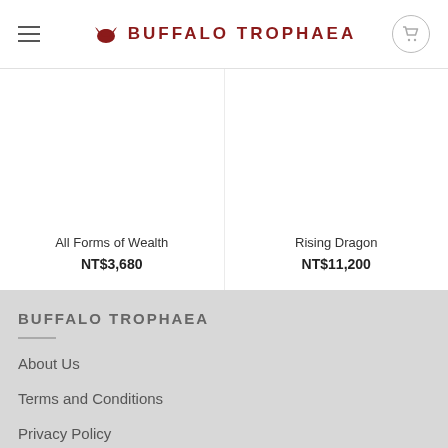BUFFALO TROPHAEA
All Forms of Wealth
NT$3,680
Rising Dragon
NT$11,200
BUFFALO TROPHAEA
About Us
Terms and Conditions
Privacy Policy